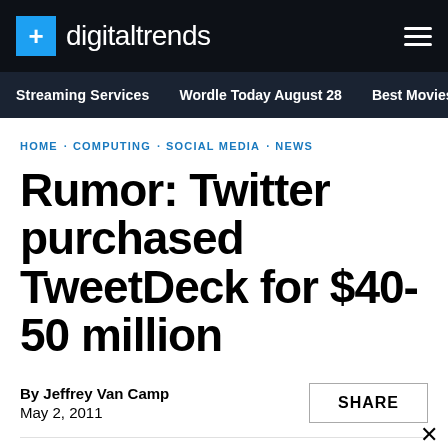+ digitaltrends
Streaming Services   Wordle Today August 28   Best Movies c
HOME · COMPUTING · SOCIAL MEDIA · NEWS
Rumor: Twitter purchased TweetDeck for $40-50 million
By Jeffrey Van Camp
May 2, 2011